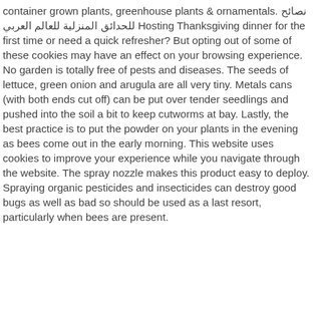container grown plants, greenhouse plants & ornamentals. نصائح للحدائق المنزلية للعالم العربي Hosting Thanksgiving dinner for the first time or need a quick refresher? But opting out of some of these cookies may have an effect on your browsing experience. No garden is totally free of pests and diseases. The seeds of lettuce, green onion and arugula are all very tiny. Metals cans (with both ends cut off) can be put over tender seedlings and pushed into the soil a bit to keep cutworms at bay. Lastly, the best practice is to put the powder on your plants in the evening as bees come out in the early morning. This website uses cookies to improve your experience while you navigate through the website. The spray nozzle makes this product easy to deploy. Spraying organic pesticides and insecticides can destroy good bugs as well as bad so should be used as a last resort, particularly when bees are present.